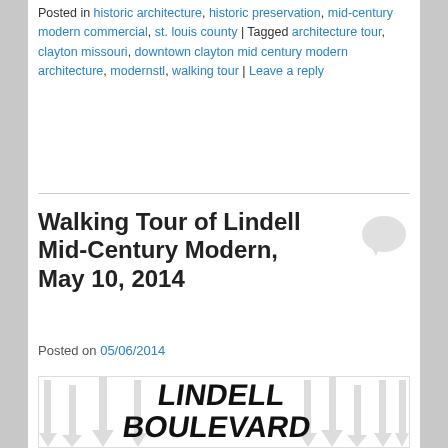Posted in historic architecture, historic preservation, mid-century modern commercial, st. louis county | Tagged architecture tour, clayton missouri, downtown clayton mid century modern architecture, modernstl, walking tour | Leave a reply
Walking Tour of Lindell Mid-Century Modern, May 10, 2014
Posted on 05/06/2014
[Figure (illustration): Promotional image reading 'LINDELL BOULEVARD GOES MODERN (again and again)' with stylized upward arrows in the background]